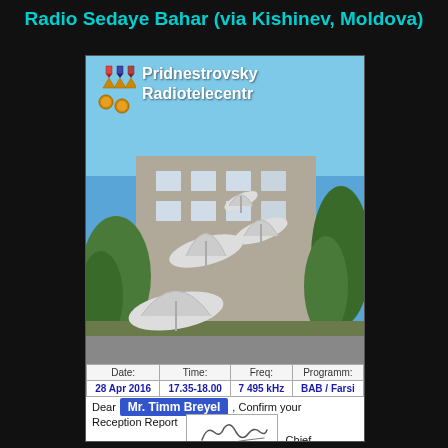Radio Sedaye Bahar (via Kishinev, Moldova)
[Figure (photo): QSL card from Pridnestrovsky Radiotelecentr showing satellite dishes on a building rooftop with blue sky, trees. Card includes logo with medals and award ribbons, an info table with date/time/frequency/programme fields, recipient name box, and a signature block.]
| Date: | Time: | Freq: | Programm: |
| --- | --- | --- | --- |
| 28 Apr 2016 | 17.35-18.00 | 7 495 kHz | BAB / Farsi |
Dear Mr. Timm Breyel , Confirm your Reception Report Chief